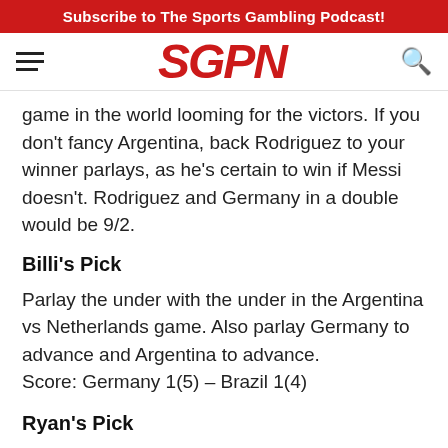Subscribe to The Sports Gambling Podcast!
[Figure (logo): SGPN logo in red italic bold text with hamburger menu icon on left and search icon on right]
game in the world looming for the victors. If you don't fancy Argentina, back Rodriguez to your winner parlays, as he's certain to win if Messi doesn't. Rodriguez and Germany in a double would be 9/2.
Billi's Pick
Parlay the under with the under in the Argentina vs Netherlands game. Also parlay Germany to advance and Argentina to advance.
Score: Germany 1(5) – Brazil 1(4)
Ryan's Pick
Germany to advance -120. Feels like a tough